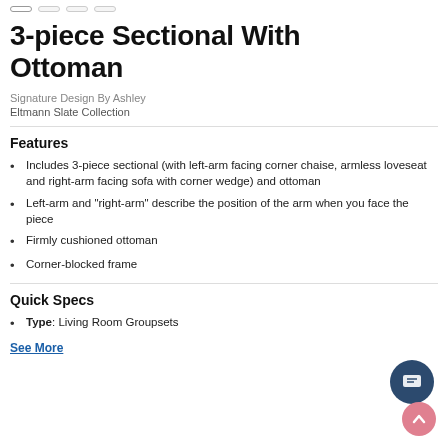3-piece Sectional With Ottoman
Signature Design By Ashley
Eltmann Slate Collection
Features
Includes 3-piece sectional (with left-arm facing corner chaise, armless loveseat and right-arm facing sofa with corner wedge) and ottoman
Left-arm and "right-arm" describe the position of the arm when you face the piece
Firmly cushioned ottoman
Corner-blocked frame
Quick Specs
Type: Living Room Groupsets
See More